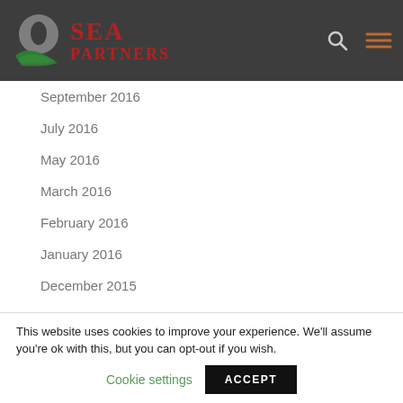SEA PARTNERS
September 2016
July 2016
May 2016
March 2016
February 2016
January 2016
December 2015
October 2015
This website uses cookies to improve your experience. We'll assume you're ok with this, but you can opt-out if you wish.
Cookie settings
ACCEPT